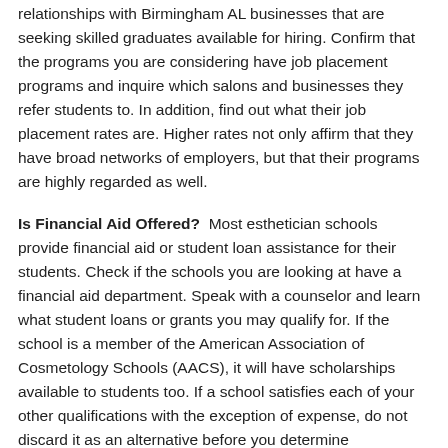relationships with Birmingham AL businesses that are seeking skilled graduates available for hiring. Confirm that the programs you are considering have job placement programs and inquire which salons and businesses they refer students to. In addition, find out what their job placement rates are. Higher rates not only affirm that they have broad networks of employers, but that their programs are highly regarded as well.
Is Financial Aid Offered?  Most esthetician schools provide financial aid or student loan assistance for their students. Check if the schools you are looking at have a financial aid department. Speak with a counselor and learn what student loans or grants you may qualify for. If the school is a member of the American Association of Cosmetology Schools (AACS), it will have scholarships available to students too. If a school satisfies each of your other qualifications with the exception of expense, do not discard it as an alternative before you determine